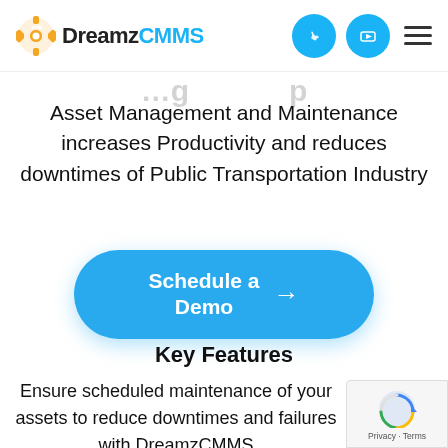DreamzCMMS
Asset Management and Maintenance increases Productivity and reduces downtimes of Public Transportation Industry
[Figure (other): Blue rounded pill-shaped button with white text 'Schedule a Demo' and a right arrow icon]
Key Features
Ensure scheduled maintenance of your assets to reduce downtimes and failures with DreamzCMMS